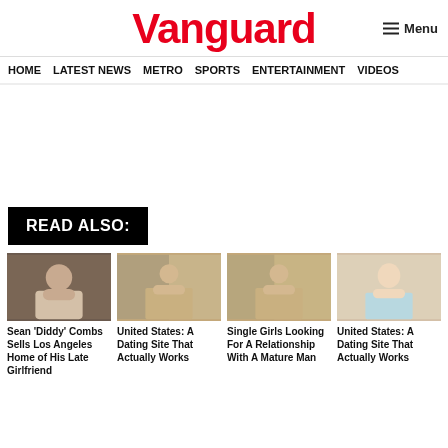Vanguard
HOME  LATEST NEWS  METRO  SPORTS  ENTERTAINMENT  VIDEOS
READ ALSO:
[Figure (photo): Portrait photo of Sean 'Diddy' Combs]
Sean 'Diddy' Combs Sells Los Angeles Home of His Late Girlfriend
[Figure (photo): Woman sitting - dating site ad image]
United States: A Dating Site That Actually Works
[Figure (photo): Woman sitting - single girls ad image]
Single Girls Looking For A Relationship With A Mature Man
[Figure (photo): Blonde woman smiling - dating site ad image]
United States: A Dating Site That Actually Works